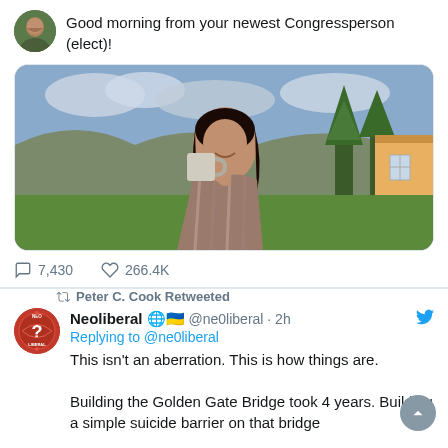Good morning from your newest Congressperson (elect)!
[Figure (photo): A smiling woman holding a coffee mug outdoors with trees and a yellow house in the background]
7,430   266.4K
Peter C. Cook Retweeted
[Figure (logo): Neoliberal account avatar - red circular logo with text NEO LIBERAL]
Neoliberal 🌐🇺🇦 @ne0liberal · 2h
Replying to @ne0liberal
This isn't an aberration. This is how things are.

Building the Golden Gate Bridge took 4 years. Building a simple suicide barrier on that bridge has...